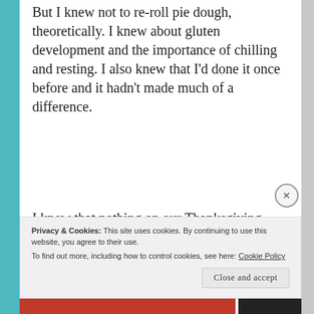But I knew not to re-roll pie dough, theoretically. I knew about gluten development and the importance of chilling and resting. I also knew that I'd done it once before and it hadn't made much of a difference.
I knew that nothing on our Thanksgiving table would be especially delicious, nothing ever was, not even the bread that my Grandma used to make with her mythological special recipe that had followed her to the
Privacy & Cookies: This site uses cookies. By continuing to use this website, you agree to their use.
To find out more, including how to control cookies, see here: Cookie Policy